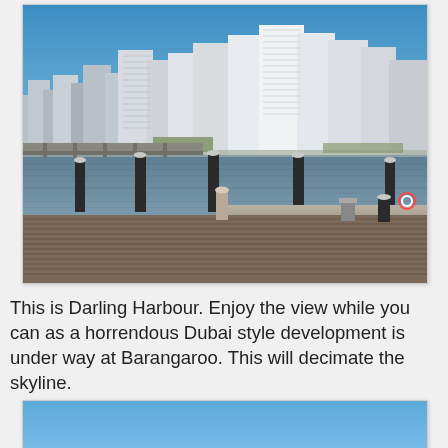[Figure (photo): Darling Harbour, Sydney. View from a wooden dock/pier in the foreground with bollards and metal railings. The harbour water is visible in the middle ground, and the Sydney CBD skyline with tall white and glass skyscrapers is in the background under a clear blue sky.]
This is Darling Harbour. Enjoy the view while you can as a horrendous Dubai style development is under way at Barangaroo. This will decimate the skyline.
[Figure (photo): Partial view of a photo showing a blue sky, cropped at the bottom of the page.]